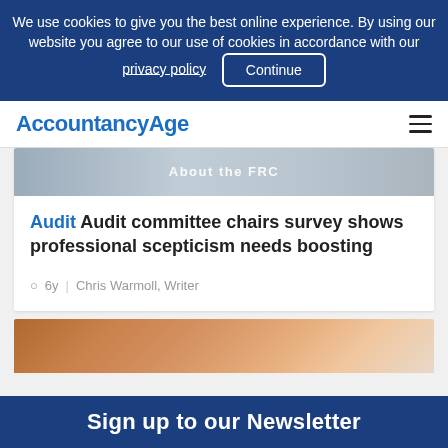We use cookies to give you the best online experience. By using our website you agree to our use of cookies in accordance with our privacy policy   Continue
AccountancyAge
[Figure (screenshot): Partial image of a document or screen showing text 'About the FRC']
Audit Audit committee chairs survey shows professional scepticism needs boosting
6y  |  Chris Warmoll, Writer
[Figure (photo): Close-up photo of a person's face, partial view]
Sign up to our Newsletter